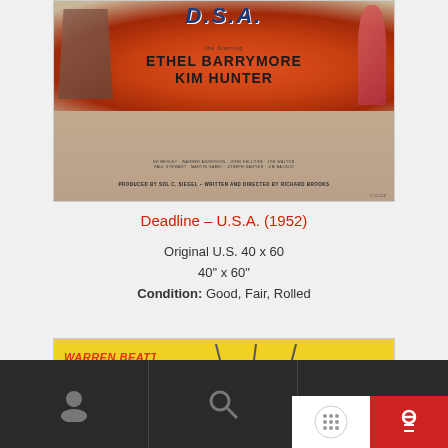[Figure (photo): Movie poster for Deadline U.S.A. (1952) showing title text, starring Ethel Barrymore and Kim Hunter, produced by Sol C. Siegel, written and directed by Richard Brooks. Orange/red background with illustrated figures.]
Deadline – U.S.A. (1952)
Original U.S. 40 x 60
40" x 60"
Condition: Good, Fair, Rolled
[Figure (photo): Movie poster for a Warren Beatty and Goldie Hawn film, yellow background with red text for their names in italic style, action scene figures on right side.]
Navigation bar with user icon, search icon, and action buttons